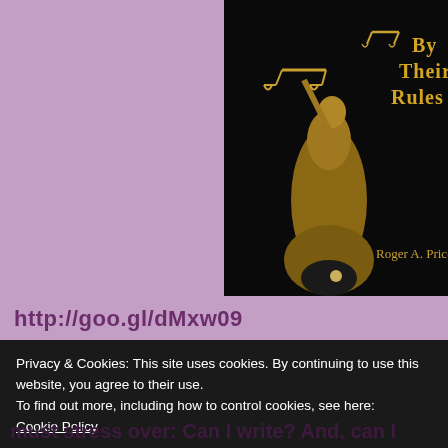[Figure (illustration): Book cover for 'By Their Rules' by Roger A. Price, featuring a golden Lady Justice statue holding scales on a black background with gold text.]
http://goo.gl/dMxw09
Privacy & Cookies: This site uses cookies. By continuing to use this website, you agree to their use.
To find out more, including how to control cookies, see here:
Cookie Policy
Close and accept
must stress over: Can I write? And, can I